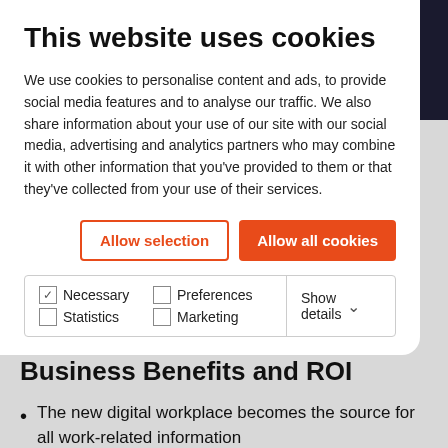This website uses cookies
We use cookies to personalise content and ads, to provide social media features and to analyse our traffic. We also share information about your use of our site with our social media, advertising and analytics partners who may combine it with other information that you’ve provided to them or that they’ve collected from your use of their services.
Allow selection | Allow all cookies
| Necessary | Preferences | Statistics | Show details |
| --- | --- | --- | --- |
| Marketing |  |  |  |
Business Benefits and ROI
The new digital workplace becomes the source for all work-related information
User-centric – personalization at the individual and business unit levels, making content timely and relevant